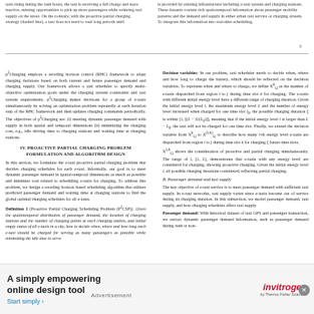tarts rising during the rush hours, the taxi is receiving a full charge and stays inactive, missing opportunities to pick up more passengers while reducing taxi supply on the street. On the contrary, with the proactive partial charging strategy (dashed line), a taxi does not need to wait long periods until
is provided by existing infrastructure including e-taxi system and charging stations. These datasets contain rich spatiotemporal information about passenger mobility patterns and the demand and supply in either urban taxi service or charging system. To integrate this information into real-time scheduling,
3
p²Charging employs a receding horizon control (RHC) framework to adapt charging decisions based on both current and future passenger demand and charging supply. Our framework allows a taxi scheduler to specify multi-objective optimization goals under the charging system constraints and taxi system requirements. p²Charging makes decisions for a group of e-taxis simultaneously by solving an optimization problem repeatedly at each iteration step of the RHC framework and then updates charging commands periodically. The objectives of p²Charging are: (i) meeting dynamic passenger demand with supply in both spatial and temporal dimensions (ii) minimizing the charging cost, e.g., idle driving time to charging stations and waiting time at charging stations.
IV. PROACTIVE PARTIAL CHARGING PROBLEM
FORMULATION AND ALGORITHM DESIGN
In this section, we formulate the e-taxi proactive partial charging problem that decides charging schedules for each e-taxi. Informally, our goal is to meet dynamic passenger demand in spatial-temporal dimensions as much as possible and minimize cost related to scheduling e-taxis for charging. To address this problem, we design a receding horizon based scheduling algorithm that utilizes predicted passenger demand and waiting time at charging stations to find the global optimal charging schedules for all e-taxis.
Definition 1 (Proactive Partial Charging Scheduling Problem (P²CSP)). Given the spatiotemporal distribution of passenger demand, the location of charging stations and the number of charging points at each charging station, and initial empty status of all e-taxis in a city, how to decide when, where and how long each e-taxi should be charged for serving as many passengers as possible while minimizing the idle time to serve
Decision variables: In our problem, taxi scheduler needs to decide when, where and how long to charge the battery, which should be reflected on the decision variables. To represent when and where to charge, we define X^k_{i,j} as the number of e-taxis dispatched from region i to j during time slot k for charging. The e-taxis with different initial energy level have a different range of charging duration. Given the initial energy level l, the maximum energy level L and the number of energy level increased when charged for one time slot l₀, the possible charging duration ζ is within [1, ⌊(L − l)/(L₀)⌋], meaning that if the initial energy level l is larger than L − L₀, the taxi will not be charged for one time slot. Finally, we extend the decision variable from X^k_{i,j} to X^{(l,A)}_{i,j} to describe how many l-th energy level e-taxis are dispatched from region i to j during time slot k for charging ζ future time slots.
X^{l,A}_{i,j} shows the consideration of proactive and partial charging simultaneously. The range of l, [1, L], demonstrates that e-taxis with any energy level are considered for charging, showing proactive charging. Given the initial energy level l, all possible charging durations considered, reflecting partial charging.
B. Passenger demand and taxi supply
The key objective of e-taxi service is to meet passenger demand with sufficient taxi supply. In e-taxi networks, taxi supply varies since e-taxis become out of service during its charging duration. In this subsection, we model passenger demand, taxi supply, and how charging schedules affect taxi supply.
Passenger demand: With historical dataset of taxi GPS and passenger transaction, we extract dynamic passenger demand information, such as passenger demand during rush or non-